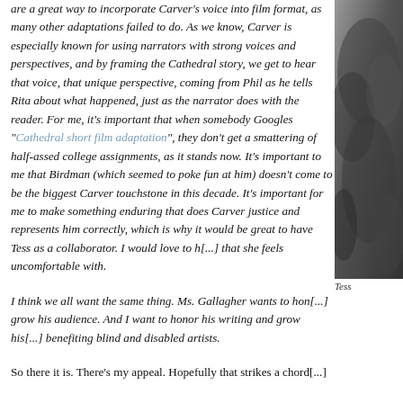are a great way to incorporate Carver's voice into film format, as many other adaptations failed to do. As we know, Carver is especially known for using narrators with strong voices and perspectives, and by framing the Cathedral story, we get to hear that voice, that unique perspective, coming from Phil as he tells Rita about what happened, just as the narrator does with the reader. For me, it's important that when somebody Googles "Cathedral short film adaptation", they don't get a smattering of half-assed college assignments, as it stands now. It's important to me that Birdman (which seemed to poke fun at him) doesn't come to be the biggest Carver touchstone in this decade. It's important for me to make something enduring that does Carver justice and represents him correctly, which is why it would be great to have Tess as a collaborator. I would love to [text cut off] that she feels uncomfortable with.
[Figure (photo): Black and white photograph partially visible on right side of page, labeled 'Tess' at bottom]
Tess
I think we all want the same thing. Ms. Gallagher wants to hon[or him and] grow his audience. And I want to honor his writing and grow his [audience by] benefiting blind and disabled artists.
So there it is. There's my appeal. Hopefully that strikes a chord[...]